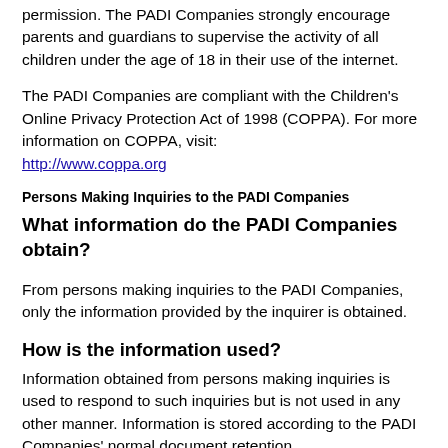permission. The PADI Companies strongly encourage parents and guardians to supervise the activity of all children under the age of 18 in their use of the internet.
The PADI Companies are compliant with the Children's Online Privacy Protection Act of 1998 (COPPA). For more information on COPPA, visit: http://www.coppa.org
Persons Making Inquiries to the PADI Companies
What information do the PADI Companies obtain?
From persons making inquiries to the PADI Companies, only the information provided by the inquirer is obtained.
How is the information used?
Information obtained from persons making inquiries is used to respond to such inquiries but is not used in any other manner. Information is stored according to the PADI Companies' normal document retention